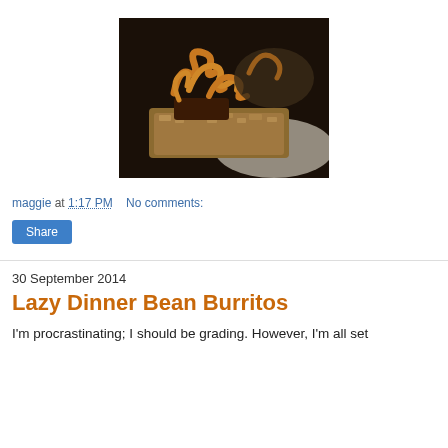[Figure (photo): Close-up of a food item — a granola/oat bar topped with caramel sauce drizzled on top, on a dark plate with a striped rim]
maggie at 1:17 PM    No comments:
Share
30 September 2014
Lazy Dinner Bean Burritos
I'm procrastinating: I should be grading. However, I'm all set